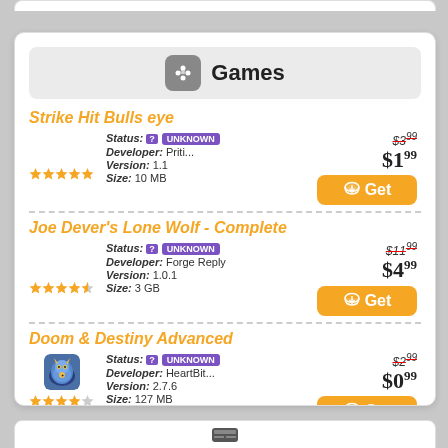Games
Strike Hit Bulls eye
Status: UNKNOWN
Developer: Priti...
Version: 1.1
Size: 10 MB
Old price: $3.99
New price: $1.99
Joe Dever's Lone Wolf - Complete
Status: UNKNOWN
Developer: Forge Reply
Version: 1.0.1
Size: 3 GB
Old price: $11.99
New price: $4.99
Doom & Destiny Advanced
Status: UNKNOWN
Developer: HeartBit...
Version: 2.7.6
Size: 127 MB
Old price: $2.99
New price: $0.99